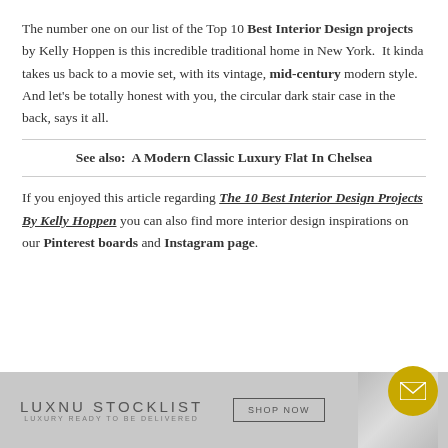The number one on our list of the Top 10 Best Interior Design projects by Kelly Hoppen is this incredible traditional home in New York.  It kinda takes us back to a movie set, with its vintage, mid-century modern style. And let's be totally honest with you, the circular dark stair case in the back, says it all.
See also:  A Modern Classic Luxury Flat In Chelsea
If you enjoyed this article regarding The 10 Best Interior Design Projects By Kelly Hoppen you can also find more interior design inspirations on our Pinterest boards and Instagram page.
[Figure (infographic): Footer banner for LUXNU STOCKLIST - LUXURY READY TO BE DELIVERED with a SHOP NOW button and a furniture image on the right. A gold email circle button overlaps the banner.]